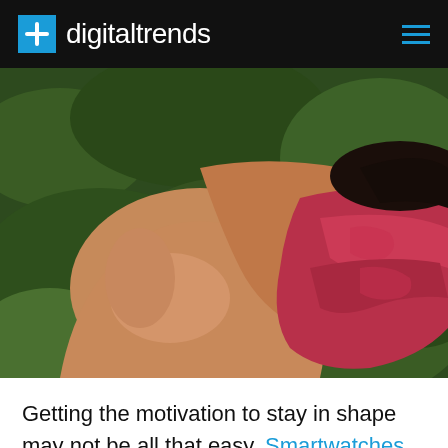digitaltrends
[Figure (photo): Close-up photo of a person in a red sports top exercising on green grass, viewed from behind/side showing their back and arm.]
Getting the motivation to stay in shape may not be all that easy. Smartwatches may be great in terms of keeping up with the daily grind but if you're looking for a virtual workout buddy, then a fitness tracker